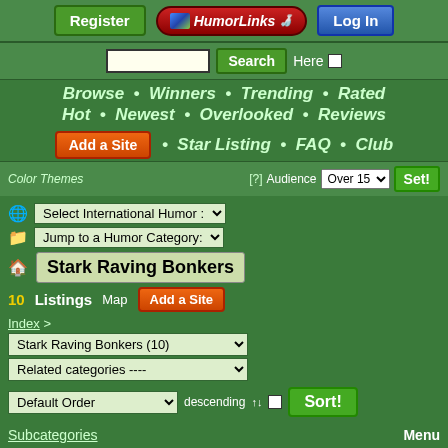[Figure (screenshot): Top navigation bar with Register button, HumorLinks logo, and Log In button]
[Figure (screenshot): Search bar with input field, Search button, and Here checkbox]
Browse • Winners • Trending • Rated Hot • Newest • Overlooked • Reviews
Add a Site • Star Listing • FAQ • Club
Color Themes   [?] Audience Over 15  Set!
Select International Humor :
Jump to a Humor Category:
Stark Raving Bonkers
10 Listings   Map   Add a Site
Index >
Stark Raving Bonkers (10)
Related categories ----
Default Order   descending   Sort!
Subcategories
Menu
Add Site   Star Listing ⭐